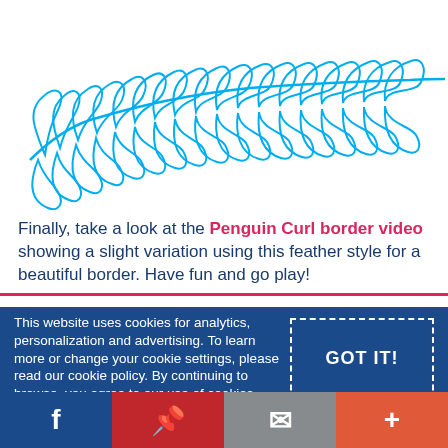[Figure (illustration): A decorative feather/leaf border illustration drawn in cyan/blue outline style, showing a central spine with curling feather-like loops branching off both sides, resembling a stylized leaf or feather pattern.]
Finally, take a look at the Penguin Curl border video showing a slight variation using this feather style for a beautiful border. Have fun and go play!
This website uses cookies for analytics, personalization and advertising. To learn more or change your cookie settings, please read our cookie policy. By continuing to browse, you agree to our use of cookies.
GOT IT!
f  P  ✉  +